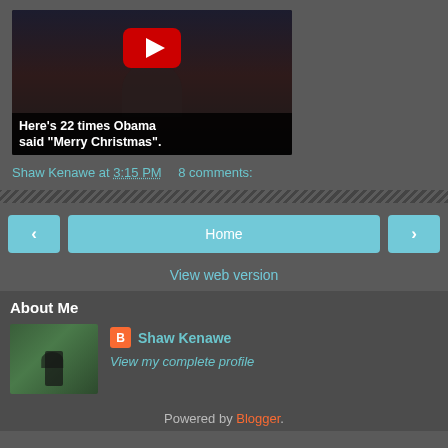[Figure (screenshot): YouTube video thumbnail showing a person in a suit with a YouTube play button overlay and caption text 'Here's 22 times Obama said "Merry Christmas".']
Shaw Kenawe at 3:15 PM   8 comments:
[Figure (infographic): Navigation bar with left arrow, Home button, and right arrow buttons in teal/cyan color]
View web version
About Me
[Figure (photo): Profile photo showing a statue of a person on horseback in a green park setting]
Shaw Kenawe
View my complete profile
Powered by Blogger.